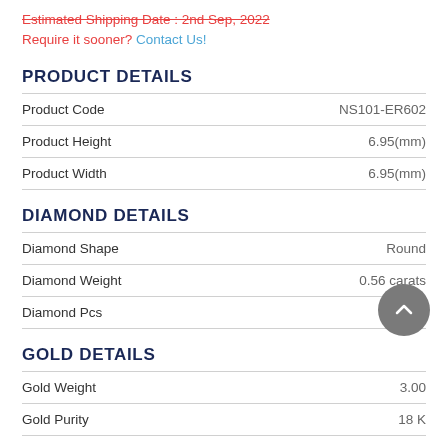Estimated Shipping Date : 2nd Sep, 2022
Require it sooner? Contact Us!
PRODUCT DETAILS
|  |  |
| --- | --- |
| Product Code | NS101-ER602 |
| Product Height | 6.95(mm) |
| Product Width | 6.95(mm) |
DIAMOND DETAILS
|  |  |
| --- | --- |
| Diamond Shape | Round |
| Diamond Weight | 0.56 carats |
| Diamond Pcs | 14 |
GOLD DETAILS
|  |  |
| --- | --- |
| Gold Weight | 3.00 |
| Gold Purity | 18 K |